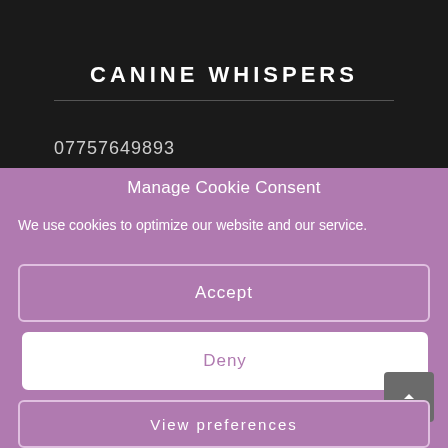CANINE WHISPERS
07757649893
Manage Cookie Consent
We use cookies to optimize our website and our service.
Accept
Deny
View preferences